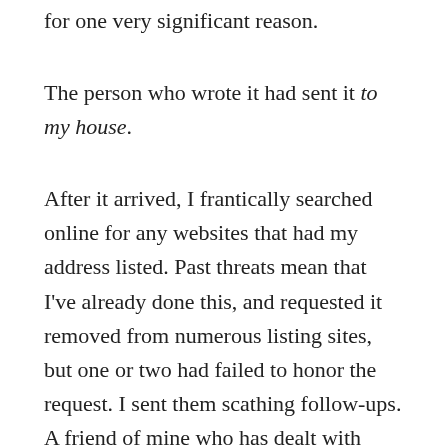for one very significant reason.
The person who wrote it had sent it to my house.
After it arrived, I frantically searched online for any websites that had my address listed. Past threats mean that I've already done this, and requested it removed from numerous listing sites, but one or two had failed to honor the request. I sent them scathing follow-ups. A friend of mine who has dealt with extreme online harassment (doxxing, death and rape threats, stalking) told me that it's largely a futile effort. My address is out there. So is yours, probably.